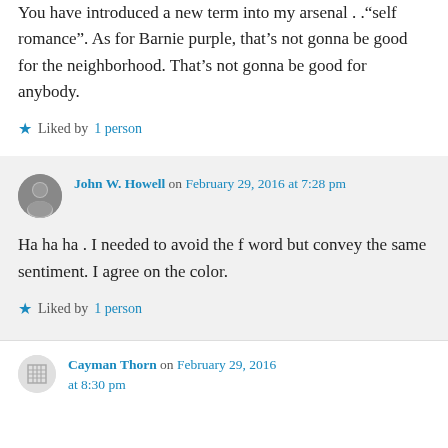You have introduced a new term into my arsenal . ."self romance". As for Barnie purple, that's not gonna be good for the neighborhood. That's not gonna be good for anybody.
★ Liked by 1 person
John W. Howell on February 29, 2016 at 7:28 pm
Ha ha ha . I needed to avoid the f word but convey the same sentiment. I agree on the color.
★ Liked by 1 person
Cayman Thorn on February 29, 2016 at 8:30 pm